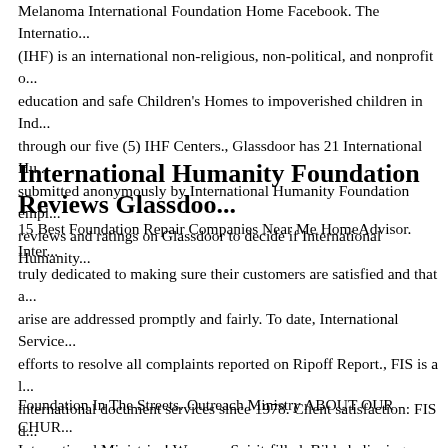Melanoma International Foundation Home Facebook. The International Humanity Foundation (IHF) is an international non-religious, non-political, and nonprofit organization providing education and safe Children's Homes to impoverished children in India and Kenya through our five (5) IHF Centers., Glassdoor has 21 International Hu... submitted anonymously by International Humanity Foundation employees. Use reviews and ratings on Glassdoor to decide if International Humanity...
International Humanity Foundation Reviews Glassdoor
15 Best Foundation Repair Companies Near Me HomeAdvisor. International Service is truly dedicated to making sure their customers are satisfied and that all concerns that arise are addressed promptly and fairly. To date, International Service has made good faith efforts to resolve all complaints reported on Ripoff Report., FIS is a leader in international document services since 1978. Client satisfaction: FIS document translation leads thoroughly review your requirements and goals before you start. You always have the opportunity to communicate with the person managing your project. FIS helps thousands of clients achieve their goals, including immigration...
Foundation In The Streets. Outreach Ministry ABOUT OUR CHURCH International Ministries! We are a Spirit-filled, Bible believing, multi...